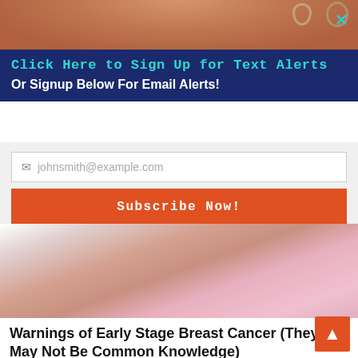[Figure (photo): Top strip showing skin/person with earrings, close button with teal X]
Click Here to Sign Up for Text Alerts
Or Signup Below For Email Alerts!
[Figure (screenshot): Email input field with placeholder johnsmith@example.com and orange Subscribe Now! button]
[Figure (photo): Photo of person wearing pink clothing, cropped mid-body]
Warnings of Early Stage Breast Cancer (They May Not Be Common Knowledge)
Cancer | Sponsored Links
[Figure (photo): Close-up photo of a person's mouth/teeth from below]